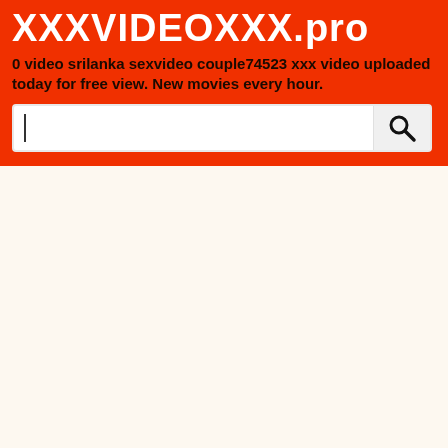XXXVIDEOXXX.pro
0 video srilanka sexvideo couple74523 xxx video uploaded today for free view. New movies every hour.
[Figure (other): Search bar with text input field and search button icon on orange background]